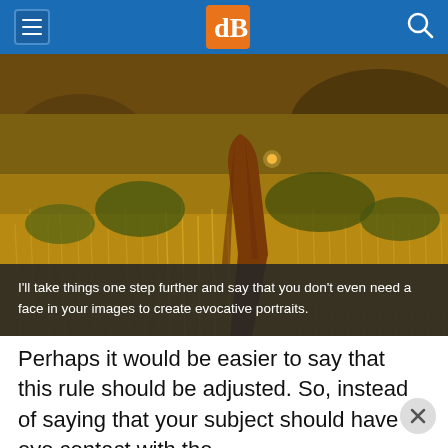dPS navigation bar
[Figure (photo): A golden-hour outdoor photograph showing a person in a dark orange/brown flowing garment standing in a field of tall golden grass, with rocks and shrubs in the background. The person's face is not visible.]
I'll take things one step further and say that you don't even need a face in your images to create evocative portraits.
Perhaps it would be easier to say that this rule should be adjusted. So, instead of saying that your subject should have eye contact with the camera, your subject should have eye contact